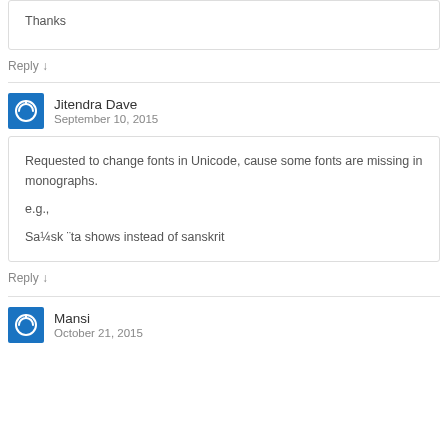Thanks
Reply ↓
Jitendra Dave
September 10, 2015
Requested to change fonts in Unicode, cause some fonts are missing in monographs.
e.g.,
Sa¼sk ¨ta shows instead of sanskrit
Reply ↓
Mansi
October 21, 2015